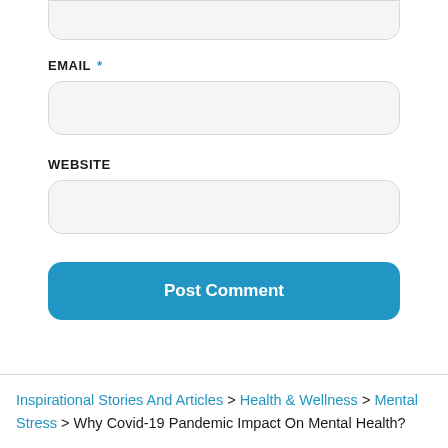EMAIL *
WEBSITE
Post Comment
Inspirational Stories And Articles > Health & Wellness > Mental Stress > Why Covid-19 Pandemic Impact On Mental Health?